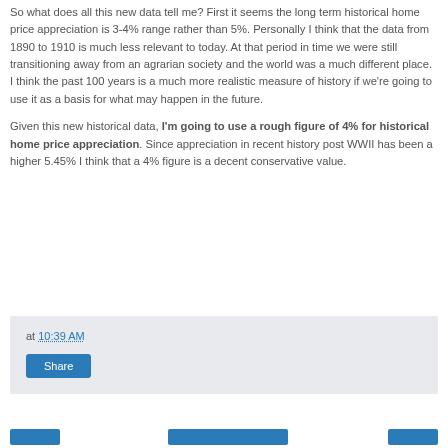So what does all this new data tell me? First it seems the long term historical home price appreciation is 3-4% range rather than 5%. Personally I think that the data from 1890 to 1910 is much less relevant to today. At that period in time we were still transitioning away from an agrarian society and the world was a much different place. I think the past 100 years is a much more realistic measure of history if we're going to use it as a basis for what may happen in the future.
Given this new historical data, I'm going to use a rough figure of 4% for historical home price appreciation. Since appreciation in recent history post WWII has been a higher 5.45% I think that a 4% figure is a decent conservative value.
at 10:39 AM
Share